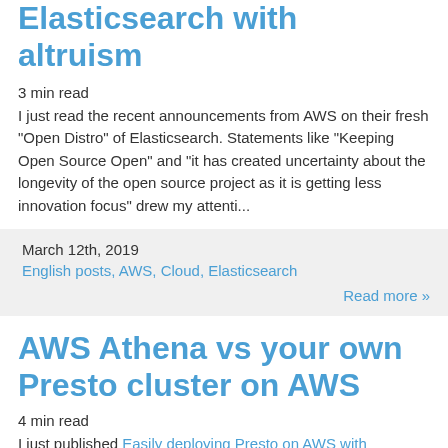Elasticsearch with altruism
3 min read
I just read the recent announcements from AWS on their fresh "Open Distro" of Elasticsearch. Statements like "Keeping Open Source Open" and "it has created uncertainty about the longevity of the open source project as it is getting less innovation focus" drew my attenti...
March 12th, 2019
English posts, AWS, Cloud, Elasticsearch
Read more »
AWS Athena vs your own Presto cluster on AWS
4 min read
I just published Easily deploying Presto on AWS with Terraform, but